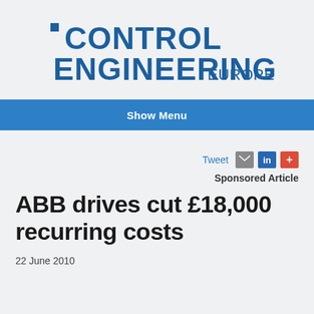[Figure (logo): Control Engineering Europe logo in dark blue, with large bold text 'CONTROL ENGINEERING' and smaller 'EUROPE' to the right]
Show Menu
Tweet  Sponsored Article
ABB drives cut £18,000 recurring costs
22 June 2010